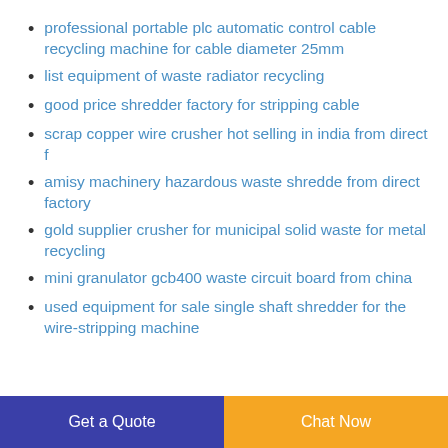professional portable plc automatic control cable recycling machine for cable diameter 25mm
list equipment of waste radiator recycling
good price shredder factory for stripping cable
scrap copper wire crusher hot selling in india from direct f
amisy machinery hazardous waste shredde from direct factory
gold supplier crusher for municipal solid waste for metal recycling
mini granulator gcb400 waste circuit board from china
used equipment for sale single shaft shredder for the wire-stripping machine
Get a Quote  Chat Now